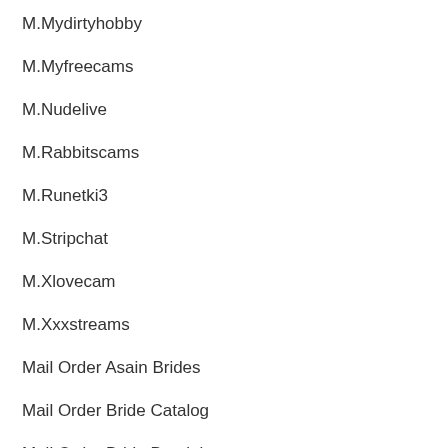M.Mydirtyhobby
M.Myfreecams
M.Nudelive
M.Rabbitscams
M.Runetki3
M.Stripchat
M.Xlovecam
M.Xxxstreams
Mail Order Asain Brides
Mail Order Bride Catalog
Mail Order Bride Dominican
Mail Order Bride Legality
Mail Order Bride Photos
Mail Order Bride Site